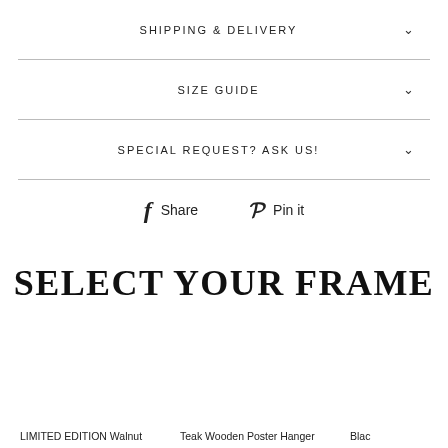SHIPPING & DELIVERY
SIZE GUIDE
SPECIAL REQUEST? ASK US!
Share   Pin it
SELECT YOUR FRAME
LIMITED EDITION Walnut   Teak Wooden Poster Hanger   Blac